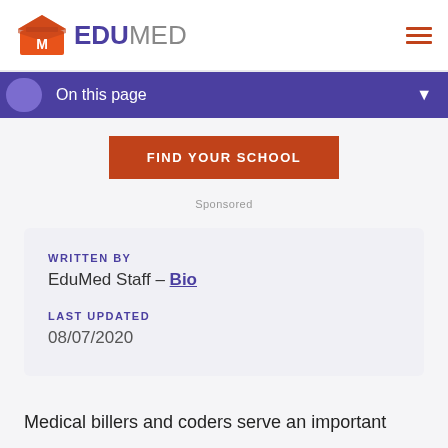EDUMED
On this page
FIND YOUR SCHOOL
Sponsored
WRITTEN BY
EduMed Staff – Bio
LAST UPDATED
08/07/2020
Medical billers and coders serve an important